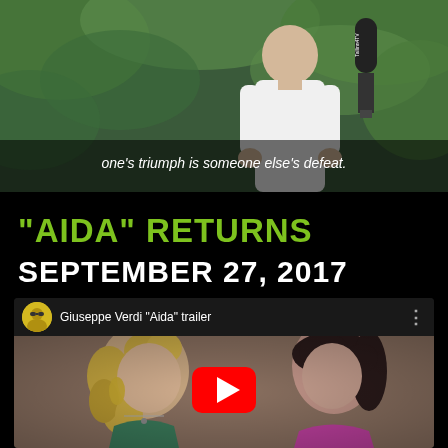[Figure (photo): Top portion of a video interview screenshot showing a person being interviewed outdoors with green foliage background and a Tallinn TV microphone. Subtitle text reads: one's triumph is someone else's defeat.]
"AIDA" RETURNS
SEPTEMBER 27, 2017
[Figure (screenshot): YouTube video embed showing Giuseppe Verdi 'Aida' trailer. Thumbnail shows two women facing each other. YouTube play button visible in center. YouTube channel avatar shown in top left of video bar.]